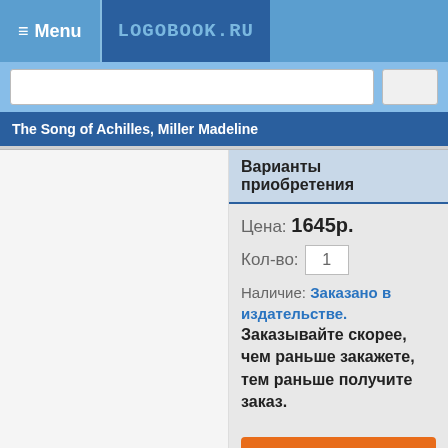≡ Menu  LOGOBOOK.RU
[Figure (screenshot): Search bar with input field and button]
The Song of Achilles, Miller Madeline
Варианты приобретения
Цена: 1645р.
Кол-во: 1
Наличие: Заказано в издательстве. Заказывайте скорее, чем раньше закажете, тем раньше получите заказ.
Добавить в корзину